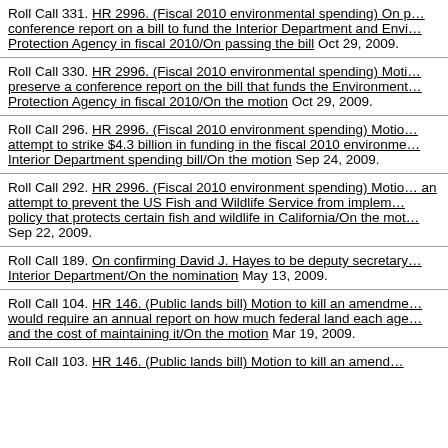Roll Call 331. HR 2996. (Fiscal 2010 environmental spending) On passing the conference report on a bill to fund the Interior Department and Environmental Protection Agency in fiscal 2010/On passing the bill Oct 29, 2009.
Roll Call 330. HR 2996. (Fiscal 2010 environmental spending) Motion to preserve a conference report on the bill that funds the Environmental Protection Agency in fiscal 2010/On the motion Oct 29, 2009.
Roll Call 296. HR 2996. (Fiscal 2010 environment spending) Motion on an attempt to strike $4.3 billion in funding in the fiscal 2010 environment and Interior Department spending bill/On the motion Sep 24, 2009.
Roll Call 292. HR 2996. (Fiscal 2010 environment spending) Motion on an attempt to prevent the US Fish and Wildlife Service from implementing a policy that protects certain fish and wildlife in California/On the motion Sep 22, 2009.
Roll Call 189. On confirming David J. Hayes to be deputy secretary of the Interior Department/On the nomination May 13, 2009.
Roll Call 104. HR 146. (Public lands bill) Motion to kill an amendment that would require an annual report on how much federal land each agency owns and the cost of maintaining it/On the motion Mar 19, 2009.
Roll Call 103. HR 146. (Public lands bill) Motion to kill an amendment...